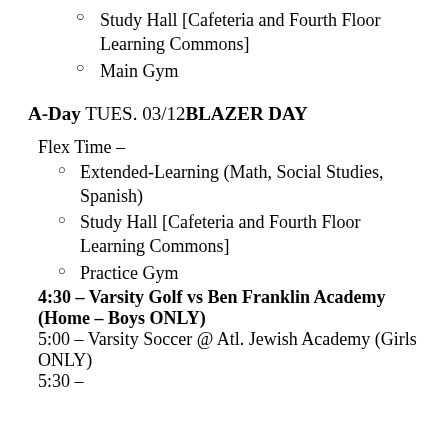Study Hall [Cafeteria and Fourth Floor Learning Commons]
Main Gym
A-Day TUES. 03/12 BLAZER DAY
Flex Time –
Extended-Learning (Math, Social Studies, Spanish)
Study Hall [Cafeteria and Fourth Floor Learning Commons]
Practice Gym
4:30 – Varsity Golf vs Ben Franklin Academy (Home – Boys ONLY)
5:00 – Varsity Soccer @ Atl. Jewish Academy (Girls ONLY)
5:30 –